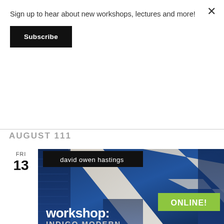Sign up to hear about new workshops, lectures and more!
Subscribe
AUGUST 111
FRI 13
[Figure (photo): Workshop promotional image showing indigo-dyed blue and white quilted fabric with 'david owen hastings' label in black box at top, 'ONLINE!' badge in lime green, and large white text reading 'workshop:' and 'INDIGO MODERN' at bottom]